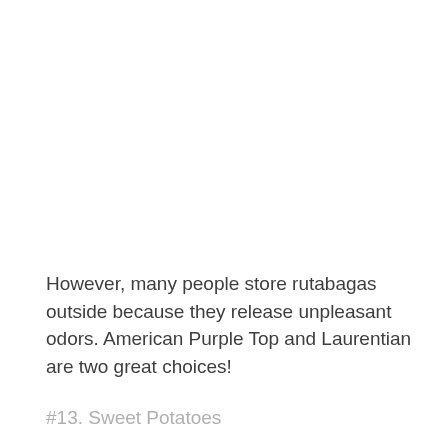However, many people store rutabagas outside because they release unpleasant odors. American Purple Top and Laurentian are two great choices!
#13. Sweet Potatoes